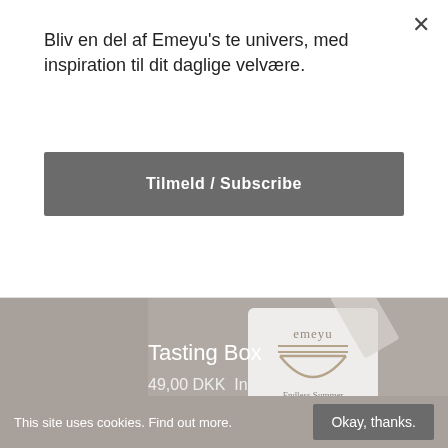Bliv en del af Emeyu's te univers, med inspiration til dit daglige velvære.
Tilmeld / Subscribe
[Figure (photo): Emeyu tea bag product photo - Endless Summer Organic Herbal Tea packaging on grey background]
Tasting Box
49,00 DKK  Incl. VAT
This site uses cookies. Find out more.  Okay, thanks.